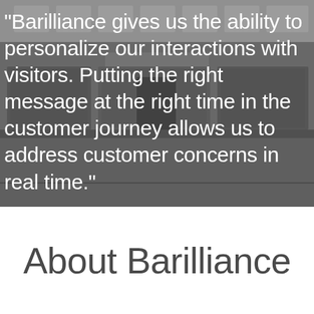[Figure (photo): Grayscale photo of a storefront (appears to be a retail shop with large windows and signage reading SKANDIUM), used as background behind a quote overlay]
"Barilliance gives us the ability to personalize our interactions with visitors. Putting the right message at the right time in the customer journey allows us to address customer concerns in real time."
About Barilliance